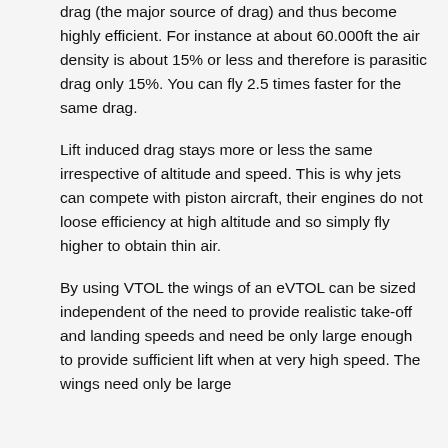drag (the major source of drag) and thus become highly efficient. For instance at about 60.000ft the air density is about 15% or less and therefore is parasitic drag only 15%. You can fly 2.5 times faster for the same drag.
Lift induced drag stays more or less the same irrespective of altitude and speed. This is why jets can compete with piston aircraft, their engines do not loose efficiency at high altitude and so simply fly higher to obtain thin air.
By using VTOL the wings of an eVTOL can be sized independent of the need to provide realistic take-off and landing speeds and need be only large enough to provide sufficient lift when at very high speed. The wings need only be large